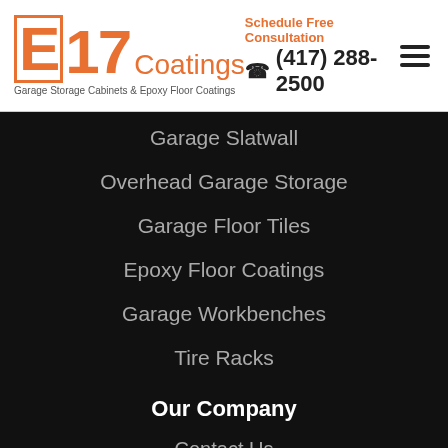[Figure (logo): E17 Coatings logo with orange brick-style E, 17, and Coatings text. Subtitle: Garage Storage Cabinets & Epoxy Floor Coatings]
Schedule Free Consultation
☎ (417) 288-2500
Garage Slatwall
Overhead Garage Storage
Garage Floor Tiles
Epoxy Floor Coatings
Garage Workbenches
Tire Racks
Our Company
Contact Us
About Us
Guides & Catalogs